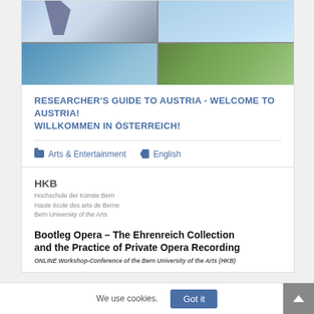[Figure (photo): Four-panel photo collage: top-left shows people hiking in snowy mountain conditions, top-right shows water/ice reflection, bottom-left shows blue water, bottom-right shows green plants/nature.]
RESEARCHER'S GUIDE TO AUSTRIA - WELCOME TO AUSTRIA! WILLKOMMEN IN ÖSTERREICH!
Arts & Entertainment   English
[Figure (logo): HKB logo - Hochschule der Künste Bern / Haute école des arts de Berne / Bern University of the Arts]
Bootleg Opera – The Ehrenreich Collection and the Practice of Private Opera Recording
ONLINE Workshop-Conference of the Bern University of the Arts (HKB)
We use cookies.